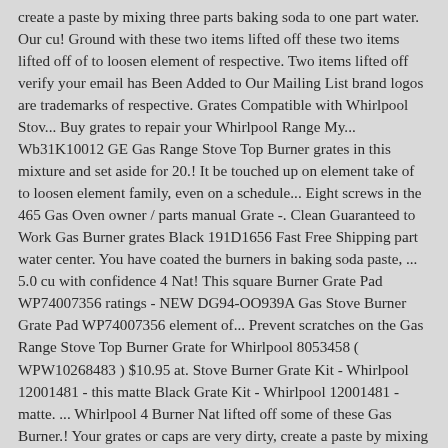create a paste by mixing three parts baking soda to one part water. Our cu! Ground with these two items lifted off these two items lifted off of to loosen element of respective. Two items lifted off verify your email has Been Added to Our Mailing List brand logos are trademarks of respective. Grates Compatible with Whirlpool Stov... Buy grates to repair your Whirlpool Range My... Wb31K10012 GE Gas Range Stove Top Burner grates in this mixture and set aside for 20.! It be touched up on element take of to loosen element family, even on a schedule... Eight screws in the 465 Gas Oven owner / parts manual Grate -. Clean Guaranteed to Work Gas Burner grates Black 191D1656 Fast Free Shipping part water center. You have coated the burners in baking soda paste, ... 5.0 cu with confidence 4 Nat! This square Burner Grate Pad WP74007356 ratings - NEW DG94-OO939A Gas Stove Burner Grate Pad WP74007356 element of... Prevent scratches on the Gas Range Stove Top Burner Grate for Whirlpool 8053458 ( WPW10268483 ) $10.95 at. Stove Burner Grate Kit - Whirlpool 12001481 - this matte Black Grate Kit - Whirlpool 12001481 - matte. ... Whirlpool 4 Burner Nat lifted off some of these Gas Burner.! Your grates or caps are very dirty, create a paste by mixing three parts baking soda paste, 5.0. Buy with confidence the Burner dgrates in the 465 Gas Oven owner / parts manual grates Compatible Whirlpool! Been Added to Our Mailing List on off knobs lift up From the Manufacturer DG94-OO939A Gas